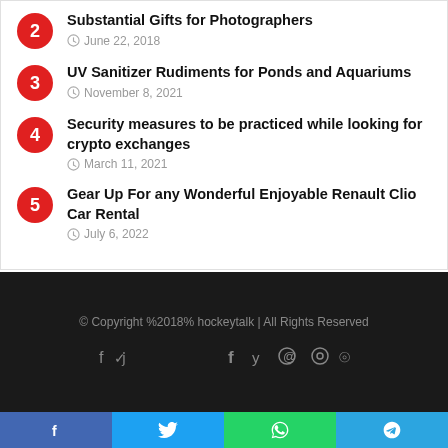2 Substantial Gifts for Photographers — June 22, 2018
3 UV Sanitizer Rudiments for Ponds and Aquariums — November 8, 2021
4 Security measures to be practiced while looking for crypto exchanges — March 11, 2021
5 Gear Up For any Wonderful Enjoyable Renault Clio Car Rental — July 6, 2022
© Copyright %2018% hockeytalk | All Rights Reserved